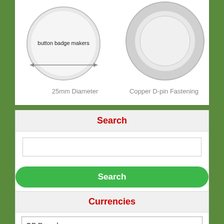[Figure (illustration): Two circular button badges shown side by side. Left badge shows front view with 'button badge makers' text and a double-headed arrow indicating 25mm Diameter. Right badge shows back view with copper D-pin fastening in gray.]
25mm Diameter
Copper D-pin Fastening
Search
Advanced Search
Currencies
GB Pounds